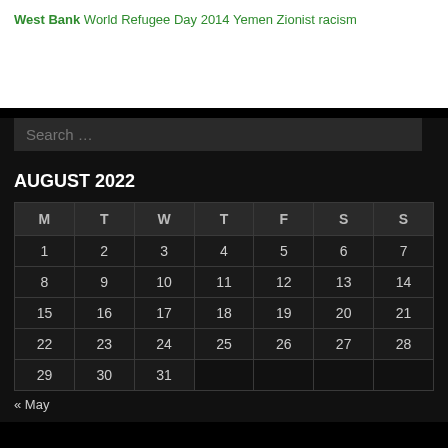West Bank World Refugee Day 2014 Yemen Zionist racism
[Figure (screenshot): Search input box with placeholder text 'Search ...' on dark background]
AUGUST 2022
| M | T | W | T | F | S | S |
| --- | --- | --- | --- | --- | --- | --- |
| 1 | 2 | 3 | 4 | 5 | 6 | 7 |
| 8 | 9 | 10 | 11 | 12 | 13 | 14 |
| 15 | 16 | 17 | 18 | 19 | 20 | 21 |
| 22 | 23 | 24 | 25 | 26 | 27 | 28 |
| 29 | 30 | 31 |  |  |  |  |
« May